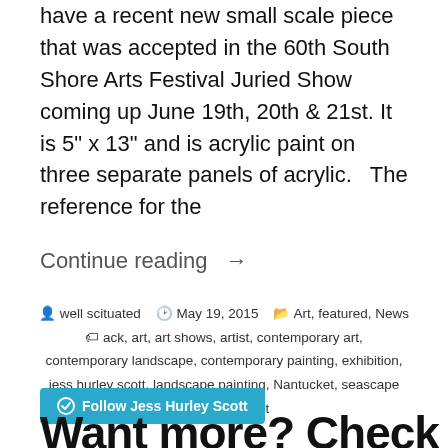have a recent new small scale piece that was accepted in the 60th South Shore Arts Festival Juried Show coming up June 19th, 20th & 21st. It is 5" x 13" and is acrylic paint on three separate panels of acrylic.   The reference for the
Continue reading →
well scituated   May 19, 2015   Art, featured, News   ack, art, art shows, artist, contemporary art, contemporary landscape, contemporary painting, exhibition, jess hurley scott, landscape painting, Nantucket, seascape   1 Comment
[Figure (other): WordPress Follow button: Follow Jess Hurley Scott]
Want more? Check out